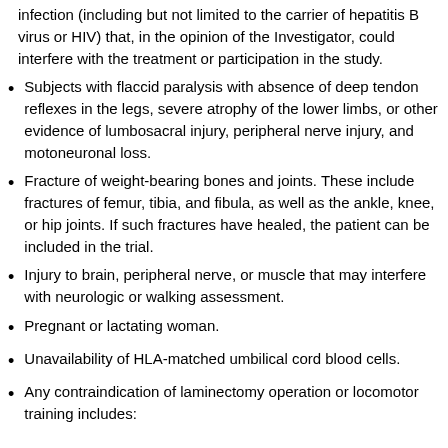infection (including but not limited to the carrier of hepatitis B virus or HIV) that, in the opinion of the Investigator, could interfere with the treatment or participation in the study.
Subjects with flaccid paralysis with absence of deep tendon reflexes in the legs, severe atrophy of the lower limbs, or other evidence of lumbosacral injury, peripheral nerve injury, and motoneuronal loss.
Fracture of weight-bearing bones and joints. These include fractures of femur, tibia, and fibula, as well as the ankle, knee, or hip joints. If such fractures have healed, the patient can be included in the trial.
Injury to brain, peripheral nerve, or muscle that may interfere with neurologic or walking assessment.
Pregnant or lactating woman.
Unavailability of HLA-matched umbilical cord blood cells.
Any contraindication of laminectomy operation or locomotor training includes: